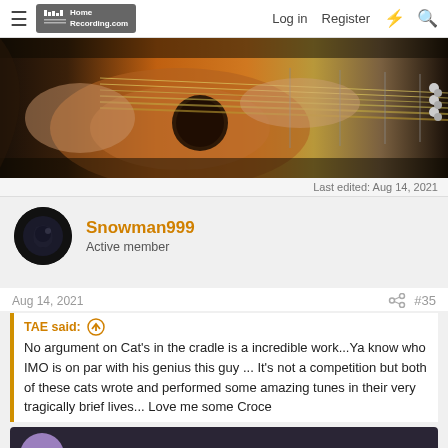HomeRecording.com — Log in   Register
[Figure (photo): Close-up photo of hands playing an acoustic/electric guitar, showing fingers on fretboard and strings]
Last edited: Aug 14, 2021
Snowman999
Active member
Aug 14, 2021  #35
TAE said:
No argument on Cat's in the cradle is a incredible work...Ya know who IMO is on par with his genius this guy ... It's not a competition but both of these cats wrote and performed some amazing tunes in their very tragically brief lives... Love me some Croce
[Figure (screenshot): Video thumbnail for Jim Croce - Operator - Live On Ke... with purple avatar showing PJ initials and three-dot menu icon. Click to expand shown below.]